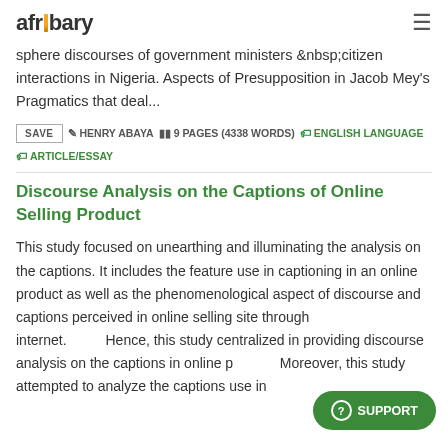afribary
sphere discourses of government ministers &nbsp;citizen interactions in Nigeria. Aspects of Presupposition in Jacob Mey's Pragmatics that deal...
SAVE  HENRY ABAYA  9 PAGES (4338 WORDS)  ENGLISH LANGUAGE  ARTICLE/ESSAY
Discourse Analysis on the Captions of Online Selling Product
This study focused on unearthing and illuminating the analysis on the captions. It includes the feature use in captioning in an online product as well as the phenomenological aspect of discourse and captions perceived in online selling site through internet.          Hence, this study centralized in providing discourse analysis on the captions in online p... Moreover, this study attempted to analyze the captions use in